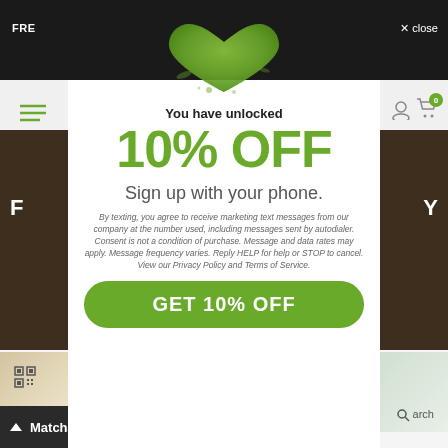FRE
✕ close
[Figure (photo): Heart shape made from green matcha powder viewed from above]
You have unlocked
10% OFF
Sign up with your phone.
By texting, you agree to receive marketing text messages from our company at the number used, including messages sent by autodialer. Consent is not a condition of purchase. Message and data rates may apply. Message frequency varies. Reply HELP for help or STOP to cancel. View our Privacy Policy and Terms of Service.
GET 10% OFF
▲ Matcha Points